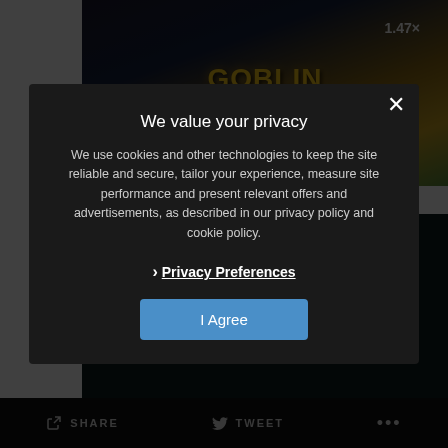[Figure (screenshot): Game advertisement for 'Goblin Run' - A 3D Runner Crash Game with 'Click to Get Details' button and 1.47x multiplier badge]
ADVERTISEMENT
[Figure (screenshot): Upaa Gaming advertisement banner with logo]
We value your privacy
We use cookies and other technologies to keep the site reliable and secure, tailor your experience, measure site performance and present relevant offers and advertisements, as described in our privacy policy and cookie policy.
› Privacy Preferences
I Agree
SHARE   TWEET   ...